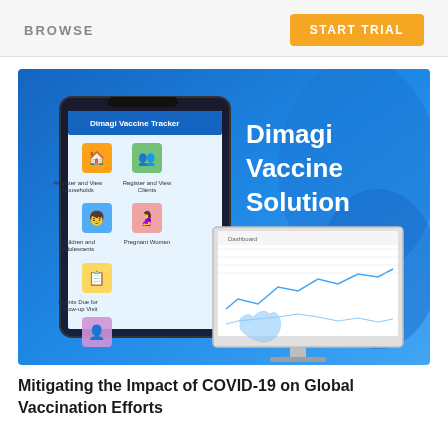BROWSE | START TRIAL
[Figure (screenshot): Dimagi Vaccine Solution promotional image showing a mobile app interface on a smartphone and a desktop monitor displaying a dashboard with India map, set against a blue background with text 'Dimagi Vaccine Solution' in white]
Mitigating the Impact of COVID-19 on Global Vaccination Efforts